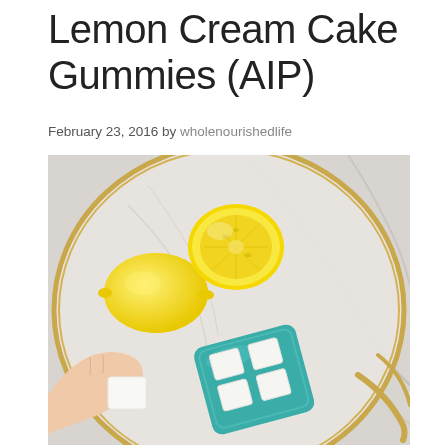Lemon Cream Cake Gummies (AIP)
February 23, 2016 by wholenourishedlife
[Figure (photo): Overhead photo of lemons (one whole, two halved) and white square gummies on a teal ceramic dish, arranged on a marble plate with a gold rim. A hand holds one gummy in the foreground.]